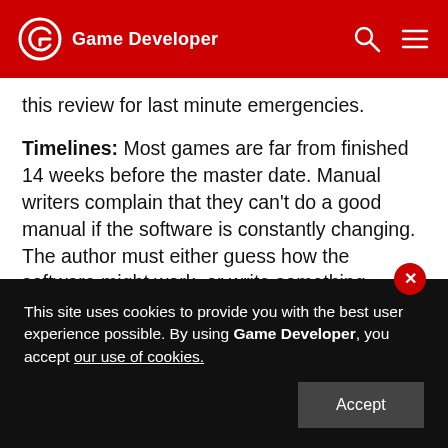Game Developer
this review for last minute emergencies.
Timelines: Most games are far from finished 14 weeks before the master date. Manual writers complain that they can't do a good manual if the software is constantly changing. The author must either guess how the software might work, or write something uselessly ambiguous and vague. On the other hand, manuals done too late are written in such haste that important things are forgotten or poorly explained. Furthermore, language itself
This site uses cookies to provide you with the best user experience possible. By using Game Developer, you accept our use of cookies.